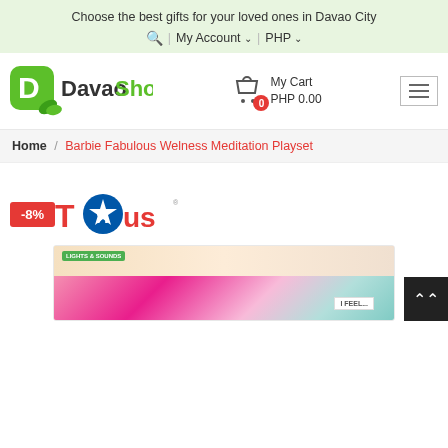Choose the best gifts for your loved ones in Davao City
🔍 | My Account ∨ | PHP ∨
[Figure (logo): DavaoShop logo with green leaf/D icon and 'DavaoShop' text in green/dark]
My Cart PHP 0.00
Home / Barbie Fabulous Welness Meditation Playset
[Figure (logo): Toys R Us logo with -8% discount badge]
[Figure (photo): Barbie Fabulous Wellness Meditation Playset product box showing Barbie figure, lights & sounds label, pink and teal design, 'I FEEL...' card]